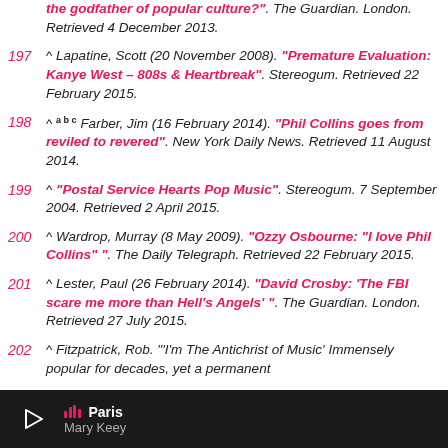the godfather of popular culture?". The Guardian. London. Retrieved 4 December 2013.
197 ^ Lapatine, Scott (20 November 2008). "Premature Evaluation: Kanye West – 808s & Heartbreak". Stereogum. Retrieved 22 February 2015.
198 ^ a b c Farber, Jim (16 February 2014). "Phil Collins goes from reviled to revered". New York Daily News. Retrieved 11 August 2014.
199 ^ "Postal Service Hearts Pop Music". Stereogum. 7 September 2004. Retrieved 2 April 2015.
200 ^ Wardrop, Murray (8 May 2009). "Ozzy Osbourne: "I love Phil Collins" ". The Daily Telegraph. Retrieved 22 February 2015.
201 ^ Lester, Paul (26 February 2014). "David Crosby: 'The FBI scare me more than Hell's Angels' ". The Guardian. London. Retrieved 27 July 2015.
202 ^ Fitzpatrick, Rob. "'I'm The Antichrist of Music' Immensely popular for decades, yet a permanent
Paris — Mary Keey